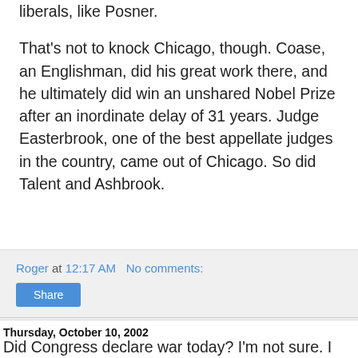liberals, like Posner.
That's not to knock Chicago, though. Coase, an Englishman, did his great work there, and he ultimately did win an unshared Nobel Prize after an inordinate delay of 31 years. Judge Easterbrook, one of the best appellate judges in the country, came out of Chicago. So did Talent and Ashbrook.
Roger at 12:17 AM   No comments:
Share
Thursday, October 10, 2002
Did Congress declare war today? I'm not sure. I just read press reports. It sounds like Congress really authorized the president to declare war. The Constitution says Congress has the power to declare war, and I don't think that Congress